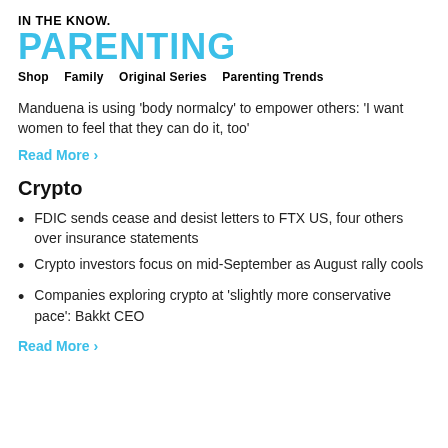IN THE KNOW.
PARENTING
Shop   Family   Original Series   Parenting Trends
Manduena is using 'body normalcy' to empower others: 'I want women to feel that they can do it, too'
Read More ›
Crypto
FDIC sends cease and desist letters to FTX US, four others over insurance statements
Crypto investors focus on mid-September as August rally cools
Companies exploring crypto at 'slightly more conservative pace': Bakkt CEO
Read More ›